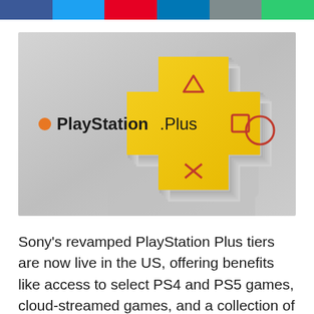[Figure (other): Social media share buttons bar — Facebook (blue), Twitter (light blue), Pinterest (red), LinkedIn (teal), Email (gray), More (green)]
[Figure (photo): PlayStation Plus branding image showing the PlayStation Plus logo on the left and a large yellow/gold 3D plus symbol with PlayStation controller button symbols (triangle, square, circle, X) on a light gray background]
Sony's revamped PlayStation Plus tiers are now live in the US, offering benefits like access to select PS4 and PS5 games, cloud-streamed games, and a collection of retro titles, depending on which tier